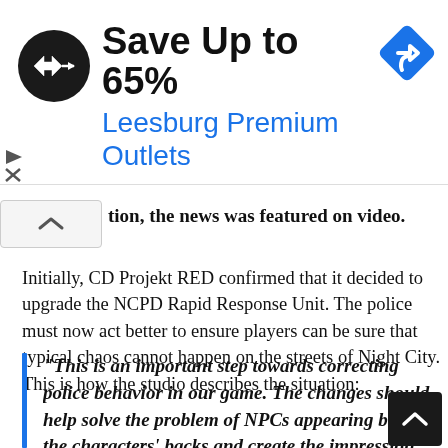[Figure (screenshot): Advertisement banner: black circular logo with double arrow icon, text 'Save Up to 65% Leesburg Premium Outlets', and a blue diamond navigation icon on the right.]
tion, the news was featured on video.
Initially, CD Projekt RED confirmed that it decided to upgrade the NCPD Rapid Response Unit. The police must now act better to ensure players can be sure that typical chaos cannot happen on the streets of Night City. This is how the studio describes the situation:
“This is an important step towards correcting police behavior in our game. The changes should help solve the problem of NPCs appearing behind the characters’ backs and create the impression that the police will take some time to get to the scene